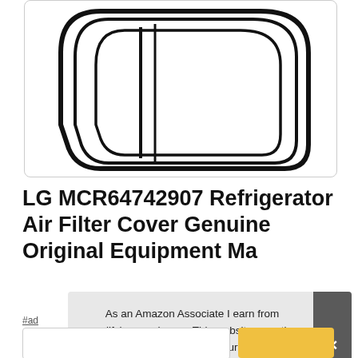[Figure (illustration): Line drawing illustration of an LG refrigerator air filter cover component, showing a rounded rectangular cover shape with multiple concentric outlines, viewed from an angle.]
LG MCR64742907 Refrigerator Air Filter Cover Genuine Original Equipment Ma...
#ad
As an Amazon Associate I earn from qualifying purchases. This website uses the only necessary cookies to ensure you get the best experience on our website. More information